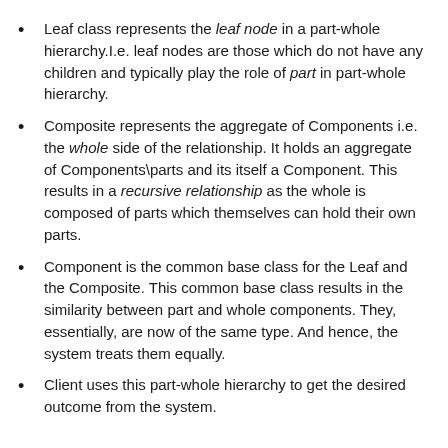Leaf class represents the leaf node in a part-whole hierarchy.I.e. leaf nodes are those which do not have any children and typically play the role of part in part-whole hierarchy.
Composite represents the aggregate of Components i.e. the whole side of the relationship. It holds an aggregate of Components\parts and its itself a Component. This results in a recursive relationship as the whole is composed of parts which themselves can hold their own parts.
Component is the common base class for the Leaf and the Composite. This common base class results in the similarity between part and whole components. They, essentially, are now of the same type. And hence, the system treats them equally.
Client uses this part-whole hierarchy to get the desired outcome from the system.